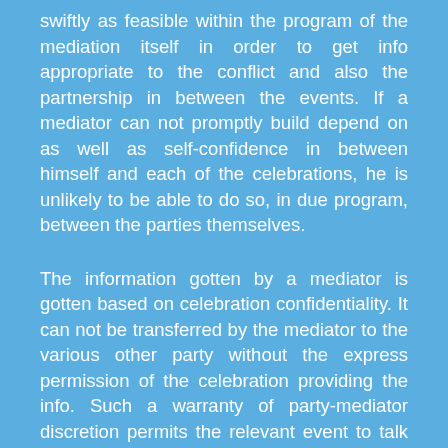swiftly as feasible within the program of the mediation itself in order to get info appropriate to the conflict and also the partnership in between the events. If a mediator can not promptly build depend on as well as self-confidence in between himself and each of the celebrations, he is unlikely to be able to do so, in due program, between the parties themselves.
The information gotten by a mediator is gotten based on celebration confidentiality. It can not be transferred by the mediator to the various other party without the express permission of the celebration providing the info. Such a warranty of party-mediator discretion permits the relevant event to talk openly and also frankly to the mediator as to the realities of the dispute (from